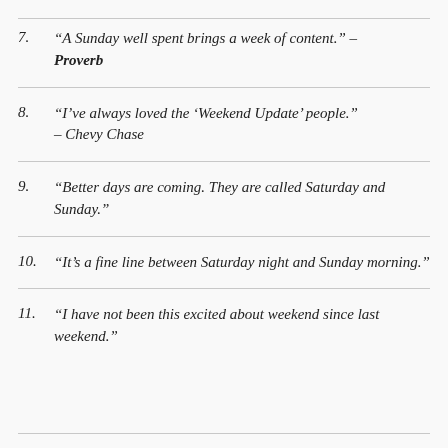7. “A Sunday well spent brings a week of content.” – Proverb
8. “I’ve always loved the ‘Weekend Update’ people.” – Chevy Chase
9. “Better days are coming. They are called Saturday and Sunday.”
10. “It’s a fine line between Saturday night and Sunday morning.”
11. “I have not been this excited about weekend since last weekend.”